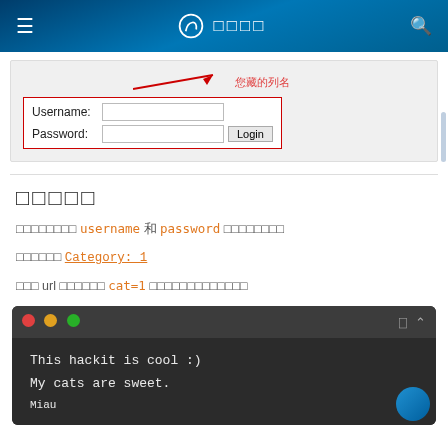≡  □□□□  🔍
[Figure (screenshot): Login form screenshot with red arrow pointing to Chinese text label (您藏的列名), showing Username and Password fields with Login button, outlined in red border]
□□□□□
□□□□□□□□ username 和 password □□□□□□□□
□□□□□□ Category: 1
□□□ url □□□□□□ cat=1 □□□□□□□□□□□□□
[Figure (screenshot): Dark terminal/code block showing three colored dots (red, yellow, green) in titlebar, with code text: 'This hackit is cool :)', 'My cats are sweet.', 'Miau']